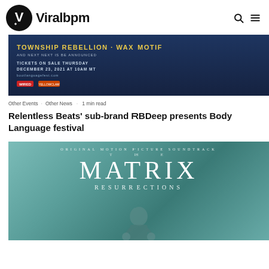Viralbpm
[Figure (photo): Dark blue concert/festival poster showing 'TOWNSHIP REBELLION · WAX MOTIF' text with event details: tickets on sale Thursday December 23, 2021 at 10am MT, bootlanguagefest.com]
Other Events · Other News · 1 min read
Relentless Beats' sub-brand RBDeep presents Body Language festival
[Figure (photo): Original Motion Picture Soundtrack - The Matrix Resurrections album cover with teal/green color scheme showing a figure with raised hands]